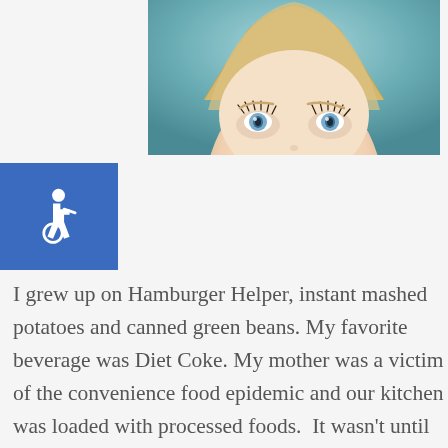[Figure (photo): Close-up photo of a blonde woman looking upward, showing her forehead, eyes with long lashes, against a teal/blue-grey background]
[Figure (illustration): Blue square with white wheelchair accessibility icon (ISA symbol)]
I grew up on Hamburger Helper, instant mashed potatoes and canned green beans. My favorite beverage was Diet Coke. My mother was a victim of the convenience food epidemic and our kitchen was loaded with processed foods.  It wasn't until high school that I discovered food that doesn't necessarily come in a box or a can. I was also raised eating tons of meat, dairy and sugar. McDonald's was our fast food...